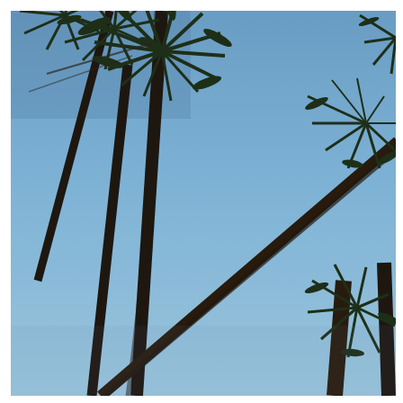[Figure (photo): Upward-looking photograph (worm's-eye view) of tall palm trees with dark silhouetted trunks and feathery fronds spread against a clear blue sky. Multiple palms are visible: a large cluster on the left, a long diagonal trunk stretching toward the upper right where another palm crown is visible, partial fronds in the far right, and a palm trunk and crown at the lower right. The sky is a gradient of blue, lighter toward the horizon.]